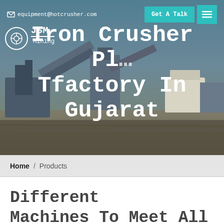[Figure (photo): Industrial iron crusher plant machinery with conveyors and equipment on a flat open site under blue sky, shown as hero background image]
equipment@hotcrusher.com  Get A Talk
Iron Crusher Plant Factory In Gujarat
Home / Products
Different Machines To Meet All Need